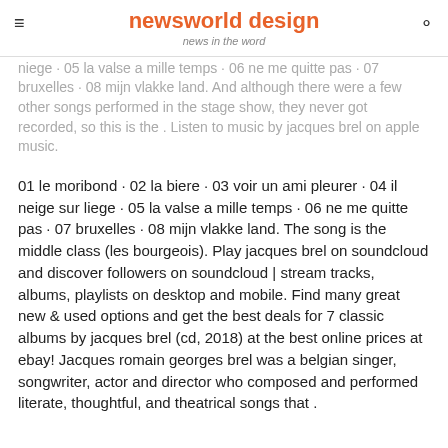newsworld design
news in the word
niege · 05 la valse a mille temps · 06 ne me quitte pas · 07 bruxelles · 08 mijn vlakke land. And although there were a few other songs performed in the stage show, they never got recorded, so this is the . Listen to music by jacques brel on apple music.
01 le moribond · 02 la biere · 03 voir un ami pleurer · 04 il neige sur liege · 05 la valse a mille temps · 06 ne me quitte pas · 07 bruxelles · 08 mijn vlakke land. The song is the middle class (les bourgeois). Play jacques brel on soundcloud and discover followers on soundcloud | stream tracks, albums, playlists on desktop and mobile. Find many great new & used options and get the best deals for 7 classic albums by jacques brel (cd, 2018) at the best online prices at ebay! Jacques romain georges brel was a belgian singer, songwriter, actor and director who composed and performed literate, thoughtful, and theatrical songs that .